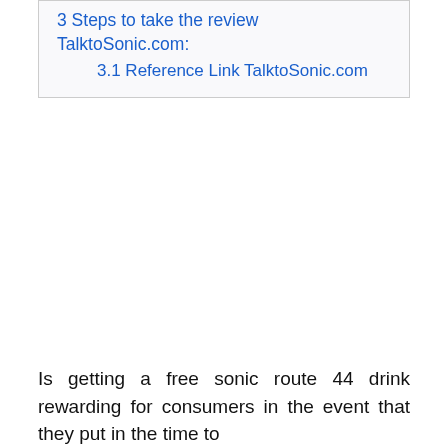3 Steps to take the review TalktoSonic.com:
3.1 Reference Link TalktoSonic.com
Is getting a free sonic route 44 drink rewarding for consumers in the event that they put in the time to